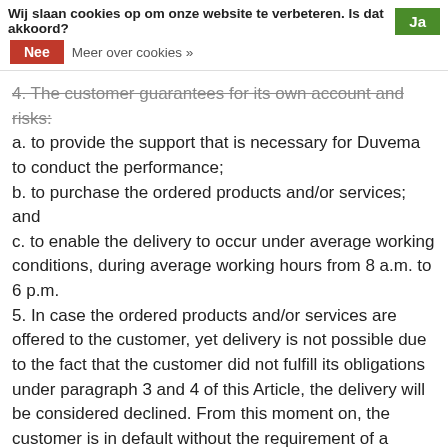Wij slaan cookies op om onze website te verbeteren. Is dat akkoord? Ja | Nee | Meer over cookies »
4.  The customer guarantees for its own account and risks:
a. to provide the support that is necessary for Duvema to conduct the performance;
b. to purchase the ordered products and/or services; and
c. to enable the delivery to occur under average working conditions, during average working hours from 8 a.m. to 6 p.m.
5. In case the ordered products and/or services are offered to the customer, yet delivery is not possible due to the fact that the customer did not fulfill its obligations under paragraph 3 and 4 of this Article, the delivery will be considered declined. From this moment on, the customer is in default without the requirement of a formal notice of default from Duvema. The day of refusal of the delivery is considered to be the delivery date of the ordered products and/or services. From this moment on, the products are at the customer's own risks as